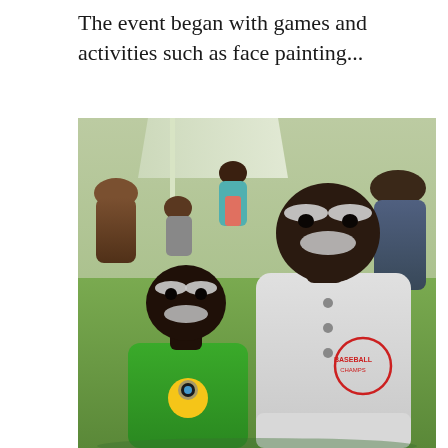The event began with games and activities such as face painting...
[Figure (photo): Two young boys with face paint designed to look like animals (white painted eyebrows and mustache/whiskers). The younger boy wears a green Minion t-shirt, and the older boy wears a white Baseball Champs long-sleeve shirt. They are standing outdoors on grass at what appears to be a community event, with other people visible in the background under a tent.]